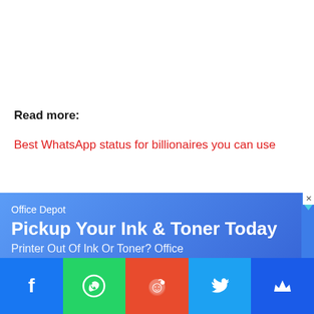Read more:
Best WhatsApp status for billionaires you can use
[Figure (screenshot): Advertisement banner for Office Depot — blue background with text 'Office Depot', 'Pickup Your Ink & Toner Today', 'Printer Out Of Ink Or Toner? Office...' and a red thumbnail on the right. Close/X button in top right corner.]
[Figure (infographic): Social share bar at bottom with five buttons: Facebook (blue, f icon), WhatsApp (green, phone/chat icon), Reddit (orange-red, Reddit alien icon), Twitter (light blue, bird icon), and a fifth blue button with crown icon.]